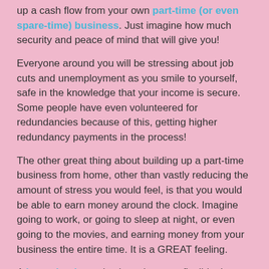up a cash flow from your own part-time (or even spare-time) business. Just imagine how much security and peace of mind that will give you!
Everyone around you will be stressing about job cuts and unemployment as you smile to yourself, safe in the knowledge that your income is secure. Some people have even volunteered for redundancies because of this, getting higher redundancy payments in the process!
The other great thing about building up a part-time business from home, other than vastly reducing the amount of stress you would feel, is that you would be able to earn money around the clock. Imagine going to work, or going to sleep at night, or even going to the movies, and earning money from your business the entire time. It is a GREAT feeling.
A home business is also a lot more flexible than a regular job, and there is no ceiling on what you can earn either. With a job, you need to turn up at a specific time, eat your lunch at a specific time, and do as you are told (wow, sounds like junior school). Then, even worse, your employer pays you what THEY think your time is worth!